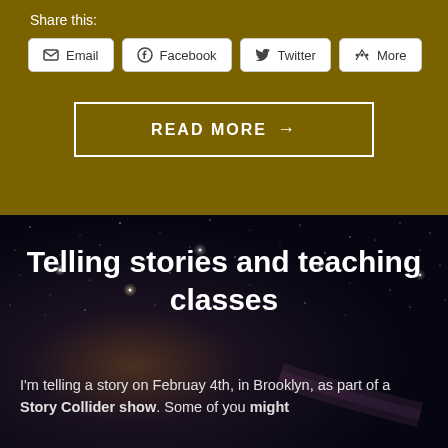Share this:
Email | Facebook | Twitter | More
READ MORE →
[Figure (photo): Dark space/night sky background with stars and bokeh light effects, showing a starfield with some brighter star clusters]
Telling stories and teaching classes
I'm telling a story on Februay 4th, in Brooklyn, as part of a Story Collider show. Some of you might